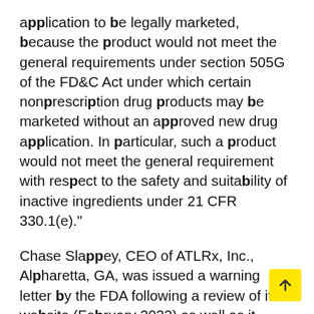application to be legally marketed, because the product would not meet the general requirements under section 505G of the FD&C Act under which certain nonprescription drug products may be marketed without an approved new drug application. In particular, such a product would not meet the general requirement with respect to the safety and suitability of inactive ingredients under 21 CFR 330.1(e)."
Chase Slappey, CEO of ATLRx, Inc., Alpharetta, GA, was issued a warning letter by the FDA following a review of its website (February 2022) as well as it social media channels. FDA says the company's CBD Salve, CBD Topical Full Spectrum Lotion and CBD Lavender Scented Hand Sanitizer" are unapproved new drugs sold in violation of sections 505(a) and 301(d) of the Federal Food, Drug, and Cosmetic Act (FD&C Act), 21 U.S.C.